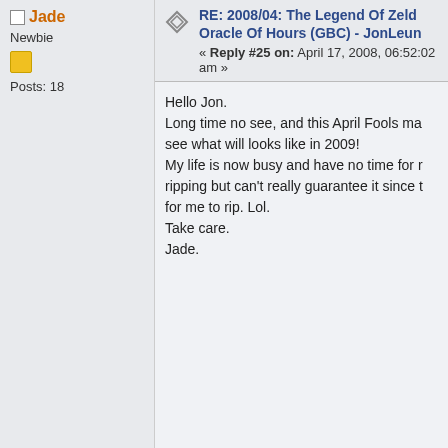Jade
Newbie
Posts: 18
RE: 2008/04: The Legend Of Zelda Oracle Of Hours (GBC) - JonLeun
« Reply #25 on: April 17, 2008, 06:52:02 am »
Hello Jon.
Long time no see, and this April Fools ma see what will looks like in 2009!
My life is now busy and have no time for r ripping but can't really guarantee it since t for me to rip. Lol.
Take care.
Jade.